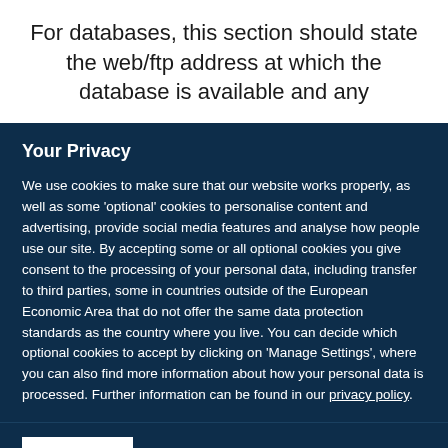For databases, this section should state the web/ftp address at which the database is available and any
Your Privacy
We use cookies to make sure that our website works properly, as well as some ‘optional’ cookies to personalise content and advertising, provide social media features and analyse how people use our site. By accepting some or all optional cookies you give consent to the processing of your personal data, including transfer to third parties, some in countries outside of the European Economic Area that do not offer the same data protection standards as the country where you live. You can decide which optional cookies to accept by clicking on ‘Manage Settings’, where you can also find more information about how your personal data is processed. Further information can be found in our privacy policy.
Accept all cookies
Manage preferences